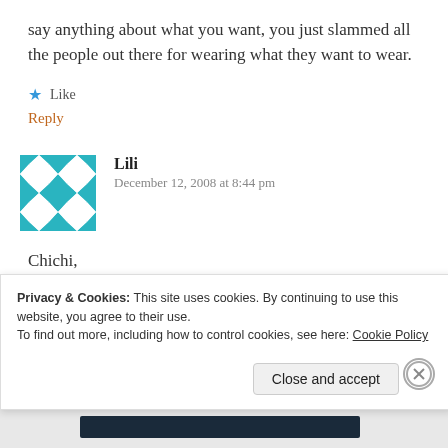say anything about what you want, you just slammed all the people out there for wearing what they want to wear.
★ Like
Reply
[Figure (illustration): Teal and white geometric avatar icon with diamond/cross pattern]
Lili
December 12, 2008 at 8:44 pm
Chichi,
Privacy & Cookies: This site uses cookies. By continuing to use this website, you agree to their use.
To find out more, including how to control cookies, see here: Cookie Policy
Close and accept